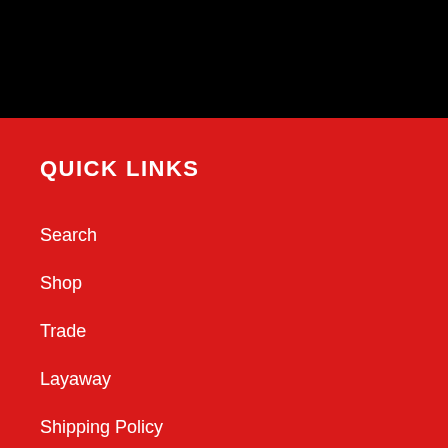QUICK LINKS
Search
Shop
Trade
Layaway
Shipping Policy
Refund Policy